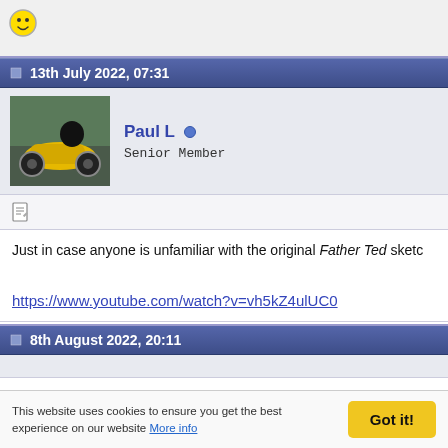[Figure (illustration): Smiley face emoji icon in top left corner]
13th July 2022, 07:31
[Figure (photo): Avatar photo of a person on a yellow motorcycle]
Paul L  Senior Member
[Figure (illustration): Small document/edit icon]
Just in case anyone is unfamiliar with the original Father Ted sketc
https://www.youtube.com/watch?v=vh5kZ4ulUC0
8th August 2022, 20:11
This website uses cookies to ensure you get the best experience on our website More info